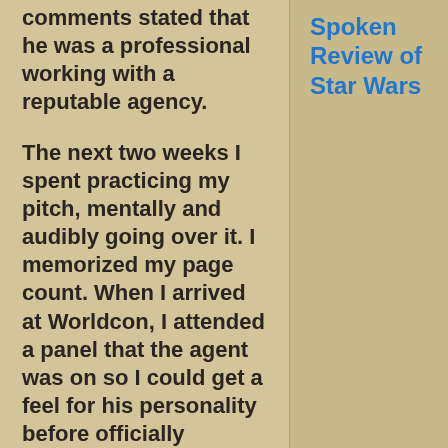comments stated that he was a professional working with a reputable agency.
The next two weeks I spent practicing my pitch, mentally and audibly going over it. I memorized my page count. When I arrived at Worldcon, I attended a panel that the agent was on so I could get a feel for his personality before officially meeting him.
Spoken Review of Star Wars